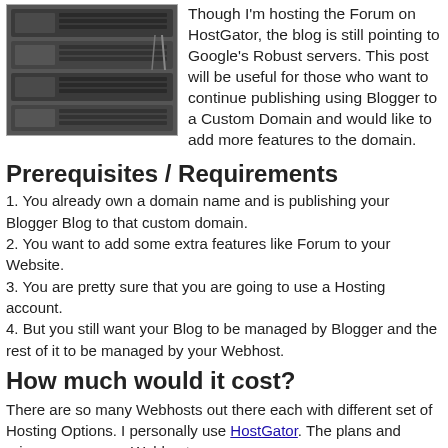[Figure (photo): Photo of server rack hardware, showing stacked dark metal server units with ventilation grilles, cables, and rack-mount equipment.]
Though I'm hosting the Forum on HostGator, the blog is still pointing to Google's Robust servers. This post will be useful for those who want to continue publishing using Blogger to a Custom Domain and would like to add more features to the domain.
Prerequisites / Requirements
1. You already own a domain name and is publishing your Blogger Blog to that custom domain.
2. You want to add some extra features like Forum to your Website.
3. You are pretty sure that you are going to use a Hosting account.
4. But you still want your Blog to be managed by Blogger and the rest of it to be managed by your Webhost.
How much would it cost?
There are so many Webhosts out there each with different set of Hosting Options. I personally use HostGator. The plans and prices vary across Webhosts.
So you will have to find out the host option for you based on price and